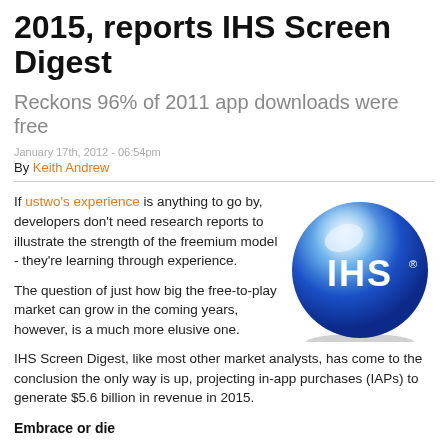2015, reports IHS Screen Digest
Reckons 96% of 2011 app downloads were free
January 17th, 2012 - 06:54pm
By Keith Andrew
If ustwo's experience is anything to go by, developers don't need research reports to illustrate the strength of the freemium model - they're learning through experience.
[Figure (logo): IHS logo — blue glossy sphere with white IHS text]
The question of just how big the free-to-play market can grow in the coming years, however, is a much more elusive one.
IHS Screen Digest, like most other market analysts, has come to the conclusion the only way is up, projecting in-app purchases (IAPs) to generate $5.6 billion in revenue in 2015.
Embrace or die